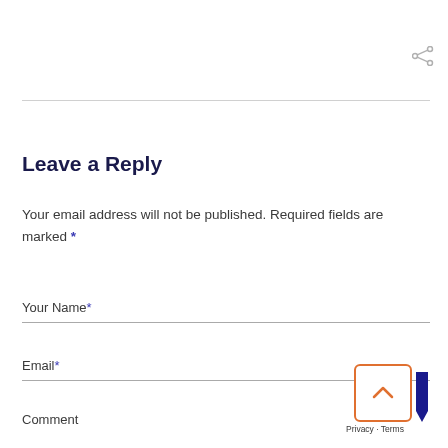[Figure (other): Share icon (network share symbol) in light gray, top right corner]
Leave a Reply
Your email address will not be published. Required fields are marked *
Your Name*
Email*
Comment
[Figure (other): Scroll-to-top button with upward chevron in orange border, bottom right corner, with Privacy · Terms text and dark blue bookmark icon]